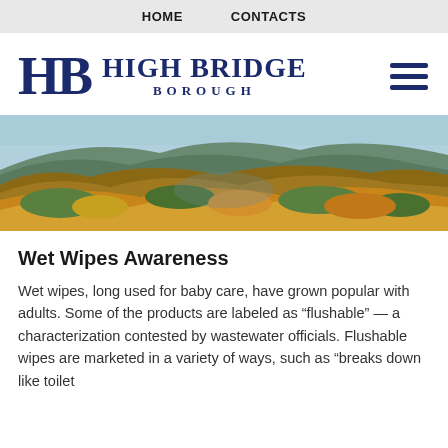HOME   CONTACTS
[Figure (logo): High Bridge Borough logo with HB monogram letters and text 'HIGH BRIDGE BOROUGH' plus hamburger menu icon]
[Figure (photo): Aerial landscape panorama of High Bridge Borough showing forested hills with autumn foliage in orange, yellow and green, with a valley and blue sky]
Wet Wipes Awareness
Wet wipes, long used for baby care, have grown popular with adults. Some of the products are labeled as “flushable” — a characterization contested by wastewater officials. Flushable wipes are marketed in a variety of ways, such as “breaks down like toilet